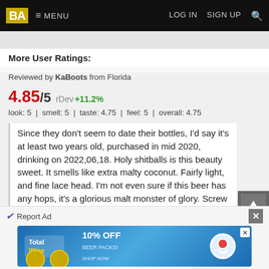BA  ≡ MENU   LOG IN   SIGN UP  🔍
More User Ratings:
Reviewed by KaBoots from Florida
4.85/5  rDev +11.2%
look: 5 | smell: 5 | taste: 4.75 | feel: 5 | overall: 4.75
Since they don't seem to date their bottles, I'd say it's at least two years old, purchased in mid 2020, drinking on 2022,06,18. Holy shitballs is this beauty sweet. It smells like extra malty coconut. Fairly light, and fine lace head. I'm not even sure if this beer has any hops, it's a glorious malt monster of glory. Screw the safe route, this beer went to the extreme end of the style and passed with flying colors.
Jun 18, 2022
Report Ad